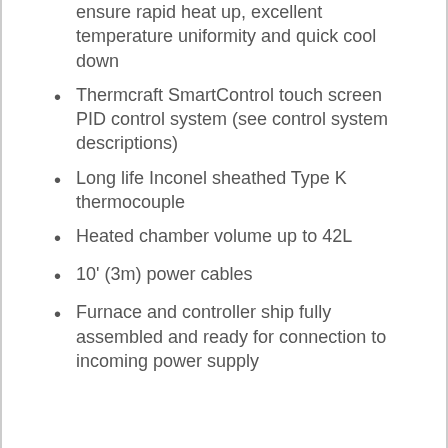ensure rapid heat up, excellent temperature uniformity and quick cool down
Thermcraft SmartControl touch screen PID control system (see control system descriptions)
Long life Inconel sheathed Type K thermocouple
Heated chamber volume up to 42L
10' (3m) power cables
Furnace and controller ship fully assembled and ready for connection to incoming power supply